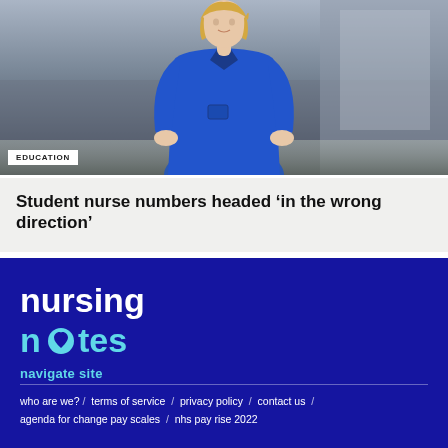[Figure (photo): Nurse in blue scrubs standing in a corridor, hands in pockets, looking at camera]
EDUCATION
Student nurse numbers headed ‘in the wrong direction’
[Figure (logo): Nursing Notes logo — 'nursing notes' in white and cyan on dark blue background, with heart symbol in the 'o' of notes]
navigate site
who are we? / terms of service / privacy policy / contact us / agenda for change pay scales / nhs pay rise 2022